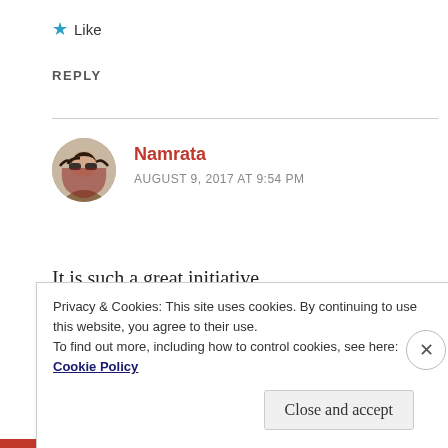★ Like
REPLY
[Figure (photo): Circular avatar photo of a woman with sunglasses and dark hair]
Namrata
AUGUST 9, 2017 AT 9:54 PM
It is such a great initiative.
Privacy & Cookies: This site uses cookies. By continuing to use this website, you agree to their use.
To find out more, including how to control cookies, see here: Cookie Policy
Close and accept